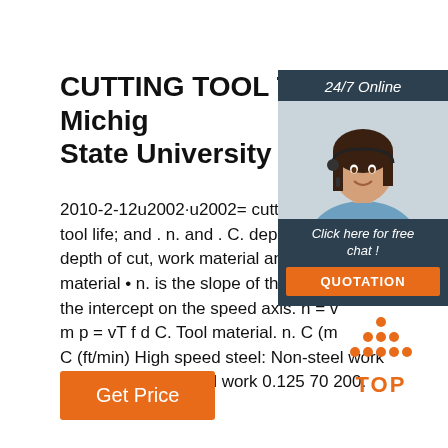CUTTING TOOL TECHNOLOGY - Michigan State University
2010-2-12u2002·u2002= cutting speed tool life; and . n. and . C. depend on the depth of cut, work material and, tooling material • n. is the slope of the plot • the intercept on the speed axis. n = w m p = vT f d C. Tool material. n. C (m/ C (ft/min) High speed steel: Non-steel work 0.125 120 350. Steel work 0.125 70 200. Cemented ...
[Figure (photo): Customer service representative woman with headset smiling, used in chat widget]
24/7 Online
Click here for free chat !
QUOTATION
[Figure (logo): TOP badge with orange dots arranged in house/triangle shape above the word TOP in orange]
Get Price